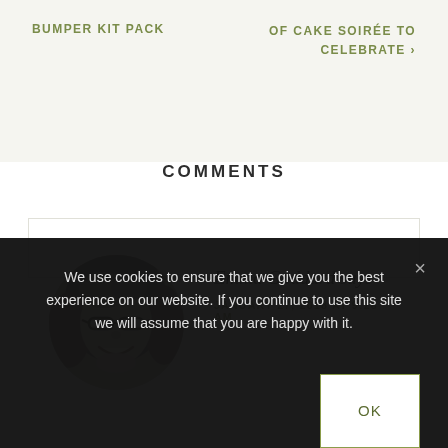BUMPER KIT PACK
OF CAKE SOIRÉE TO CELEBRATE ›
COMMENTS
[Figure (photo): Black and white circular portrait photo of a smiling woman with glasses and medium-length hair]
Emma Goddard says
JANUARY 27, 2018 AT 9:28 AM
We use cookies to ensure that we give you the best experience on our website. If you continue to use this site we will assume that you are happy with it.